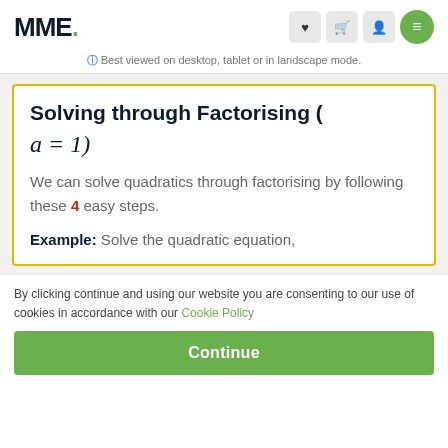MME.
Best viewed on desktop, tablet or in landscape mode.
Solving through Factorising (a = 1)
We can solve quadratics through factorising by following these 4 easy steps.
Example: Solve the quadratic equation,
By clicking continue and using our website you are consenting to our use of cookies in accordance with our Cookie Policy
Continue